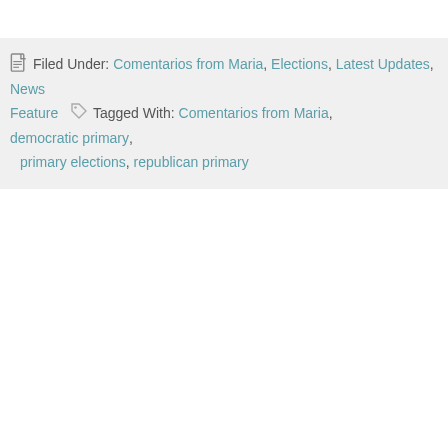Filed Under: Comentarios from Maria, Elections, Latest Updates, News Feature   Tagged With: Comentarios from Maria, democratic primary, primary elections, republican primary